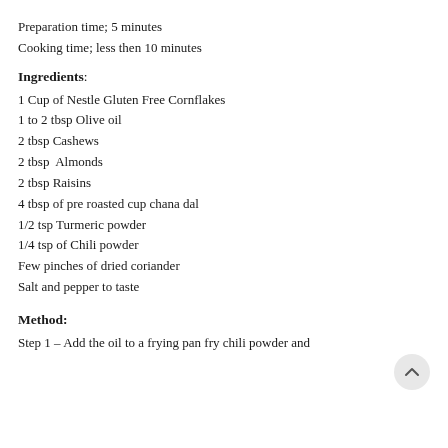Preparation time; 5 minutes
Cooking time; less then 10 minutes
Ingredients:
1 Cup of Nestle Gluten Free Cornflakes
1 to 2 tbsp Olive oil
2 tbsp Cashews
2 tbsp  Almonds
2 tbsp Raisins
4 tbsp of pre roasted cup chana dal
1/2 tsp Turmeric powder
1/4 tsp of Chili powder
Few pinches of dried coriander
Salt and pepper to taste
Method:
Step 1 – Add the oil to a frying pan fry chili powder and